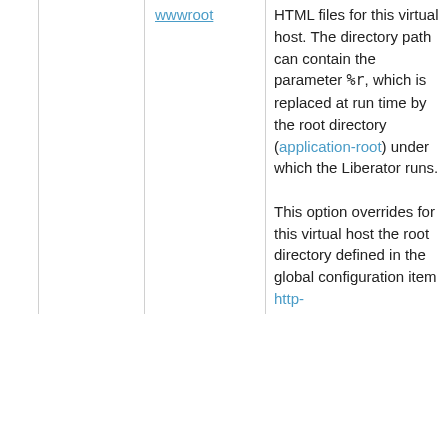|  |  | wwwroot | Description |
| --- | --- | --- | --- |
|  |  | wwwroot | HTML files for this virtual host. The directory path can contain the parameter %r, which is replaced at run time by the root directory (application-root) under which the Liberator runs.

This option overrides for this virtual host the root directory defined in the global configuration item http- |